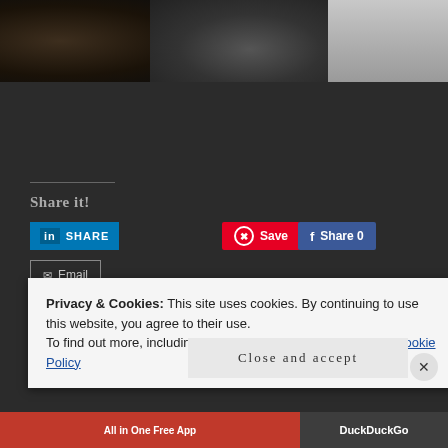[Figure (photo): Partial view of an animal (possibly bear) and motorcycle handlebar against a light wall background]
Share it!
[Figure (screenshot): LinkedIn Share button (blue), Pinterest Save button (red), Facebook Share 0 button (blue), Email button (outlined)]
Loading...
Privacy & Cookies: This site uses cookies. By continuing to use this website, you agree to their use.
To find out more, including how to control cookies, see here: Cookie Policy
Close and accept
[Figure (screenshot): Bottom advertisement bar with 'All in One Free App' in red and 'DuckDuckGo' in dark background]